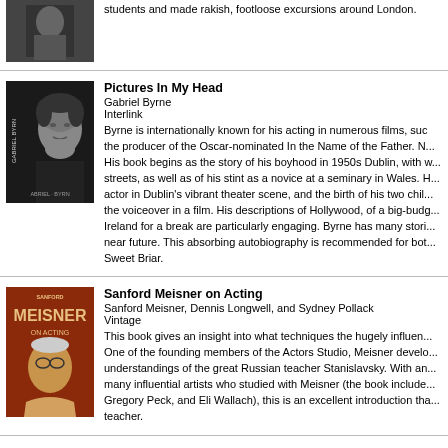[Figure (photo): Black and white photo of a person (partial, top of page)]
students and made rakish, footloose excursions around London.
[Figure (photo): Book cover: Pictures In My Head by Gabriel Byrne, black and white photo of a man]
Pictures In My Head
Gabriel Byrne
Interlink
Byrne is internationally known for his acting in numerous films, such as the producer of the Oscar-nominated In the Name of the Father. N... His book begins as the story of his boyhood in 1950s Dublin, with w... streets, as well as of his stint as a novice at a seminary in Wales. H... actor in Dublin's vibrant theater scene, and the birth of his two chil... the voiceover in a film. His descriptions of Hollywood, of a big-budg... Ireland for a break are particularly engaging. Byrne has many stori... near future. This absorbing autobiography is recommended for bot... Sweet Briar.
[Figure (photo): Book cover: Sanford Meisner on Acting, red cover with illustrated portrait]
Sanford Meisner on Acting
Sanford Meisner, Dennis Longwell, and Sydney Pollack
Vintage
This book gives an insight into what techniques the hugely influen... One of the founding members of the Actors Studio, Meisner develo... understandings of the great Russian teacher Stanislavsky. With an... many influential artists who studied with Meisner (the book include... Gregory Peck, and Eli Wallach), this is an excellent introduction tha... teacher.
The Audition Process
Stuart Edward Dunkel
Pendragon Pr
This book, subtitled "Audition Management and Coping Strategies, helps performers... going well beyond the old "imagine-them-in-their-underwear" ploy.